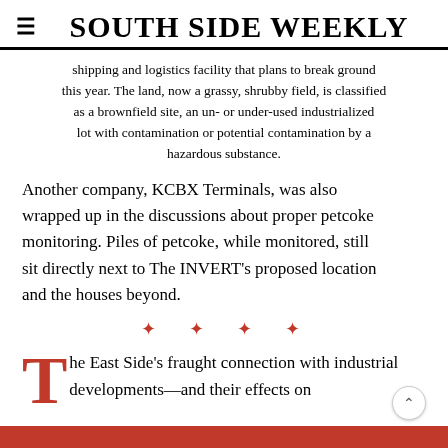SOUTH SIDE WEEKLY
shipping and logistics facility that plans to break ground this year. The land, now a grassy, shrubby field, is classified as a brownfield site, an un- or under-used industrialized lot with contamination or potential contamination by a hazardous substance.
Another company, KCBX Terminals, was also wrapped up in the discussions about proper petcoke monitoring. Piles of petcoke, while monitored, still sit directly next to The INVERT's proposed location and the houses beyond.
★ ★ ★ ★
The East Side's fraught connection with industrial developments—and their effects o…